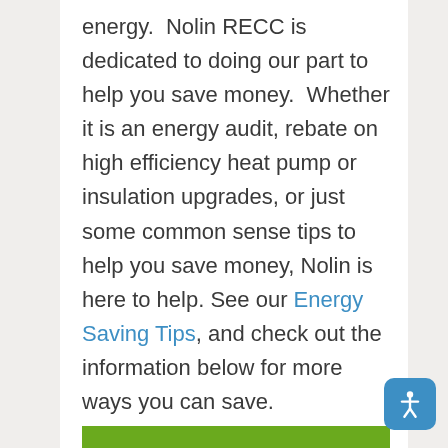energy.  Nolin RECC is dedicated to doing our part to help you save money.  Whether it is an energy audit, rebate on high efficiency heat pump or insulation upgrades, or just some common sense tips to help you save money, Nolin is here to help. See our Energy Saving Tips, and check out the information below for more ways you can save.